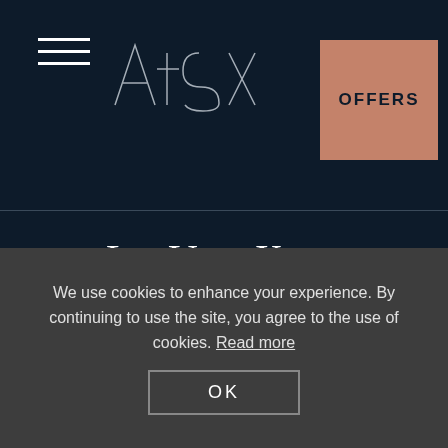[Figure (logo): Navigation bar with hamburger menu, At SIX hotel logo in handwritten style, and OFFERS button in rose/copper color]
[Figure (logo): L.V.X. SM Preferred Hotels & Resorts logo with decorative horizontal ornament line]
[Figure (illustration): Partial red circular shape visible at bottom of dark blue area]
We use cookies to enhance your experience. By continuing to use the site, you agree to the use of cookies. Read more
OK